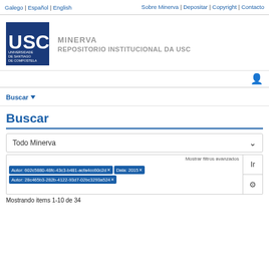Galego | Español | English   Sobre Minerva | Depositar | Copyright | Contacto
[Figure (logo): USC Universidade de Santiago de Compostela logo with blue background and white text. Next to it: MINERVA REPOSITORIO INSTITUCIONAL DA USC in grey text.]
Buscar
Buscar
Todo Minerva
Mostrar filtros avanzados
Ir
Autor: 602c5880-48fc-43c3-b481-acfa4cc60c2d ×   Data: 2015 ×
Autor: 28c465b3-282b-4122-93d7-02bc3293a524 ×
Mostrando items 1-10 de 34